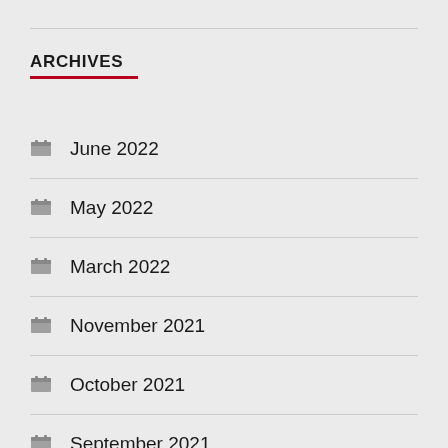ARCHIVES
June 2022
May 2022
March 2022
November 2021
October 2021
September 2021
August 2021
June 2021